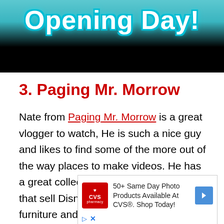[Figure (screenshot): Top portion of a video thumbnail or webpage banner showing 'Opening Day!' text in white with cyan outline/glow, on a background with a person in a blue shirt, with a black bar below.]
3. Paging Mr. Morrow
Nate from Paging Mr. Morrow is a great vlogger to watch, He is such a nice guy and likes to find some of the more out of the way places to make videos. He has a great collection of videos from stores that sell Disney parks and resort furniture and memorabilia. We were
[Figure (screenshot): CVS Pharmacy advertisement: '50+ Same Day Photo Products Available At CVS®. Shop Today!' with CVS logo on left and blue arrow on right.]